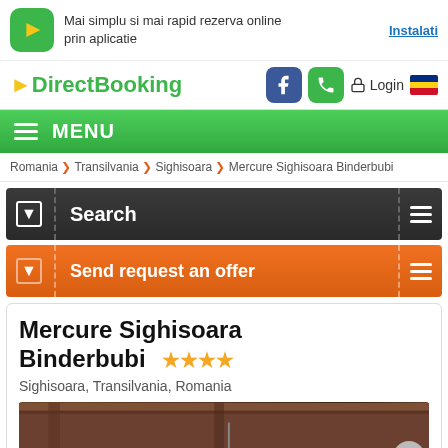[Figure (screenshot): App banner with green icon, text 'Mai simplu si mai rapid rezerva online prin aplicatie' and 'Instalati' link]
[Figure (logo): DirectBooking logo with Facebook, phone, login and Romanian flag icons]
MENU
Romania > Transilvania > Sighisoara > Mercure Sighisoara Binderbubi
Search
Send request an offer
Mercure Sighisoara Binderbubi ★★★★
Sighisoara, Transilvania, Romania
[Figure (photo): Interior photo of Mercure Sighisoara Binderbubi hotel room with warm wooden tones]